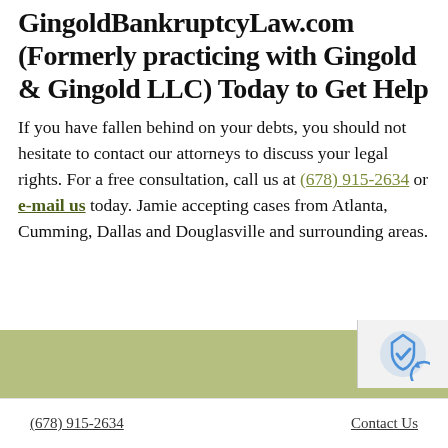GingoldBankruptcyLaw.com (Formerly practicing with Gingold & Gingold LLC) Today to Get Help
If you have fallen behind on your debts, you should not hesitate to contact our attorneys to discuss your legal rights. For a free consultation, call us at (678) 915-2634 or e-mail us today. Jamie accepting cases from Atlanta, Cumming, Dallas and Douglasville and surrounding areas.
(678) 915-2634   Contact Us